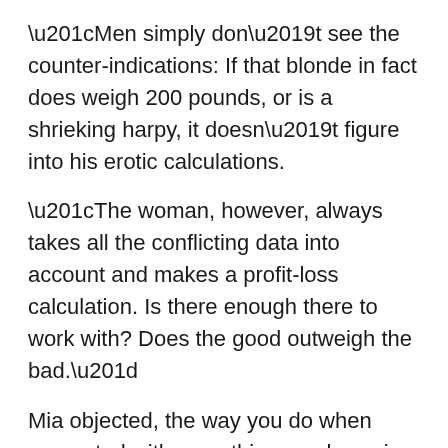“Men simply don’t see the counter-indications: If that blonde in fact does weigh 200 pounds, or is a shrieking harpy, it doesn’t figure into his erotic calculations.
“The woman, however, always takes all the conflicting data into account and makes a profit-loss calculation. Is there enough there to work with? Does the good outweigh the bad.”
Mia objected, the way you do when presented with something you know is true but don’t wish to acknowledge, hoping that denying it will make it go away, at least for the moment.
“It can’t be that simple,” she said.
“It isn’t. Actually, it’s really quite complicated. What’s most interesting is to see it play out in the long run. Then the